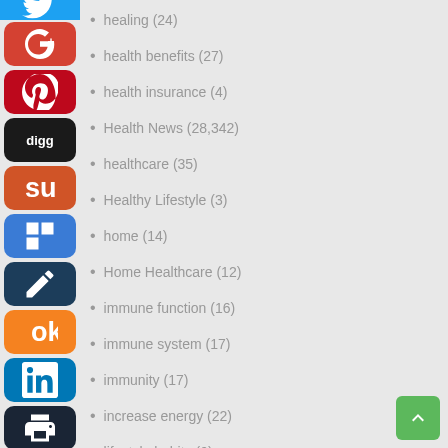healing (24)
health benefits (27)
health insurance (4)
Health News (28,342)
healthcare (35)
Healthy Lifestyle (3)
home (14)
Home Healthcare (12)
immune function (16)
immune system (17)
immunity (17)
increase energy (22)
lifestyle habits (6)
Marijuana (17)
Massage Therapy (3)
Medical Cannabis (18)
medical marijuana (18)
medications (16)
mental health (1)
Midwifery News (10)
modern medicine (9)
natural healing (6)
Natural Medicine News (33,002)